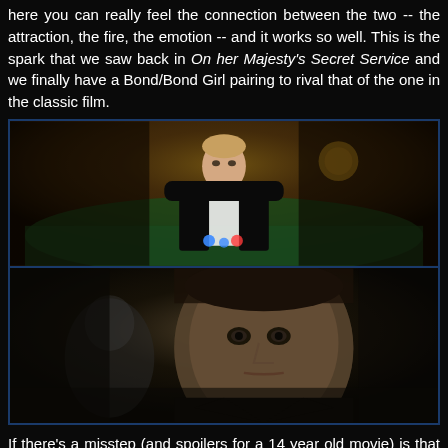here you can really feel the connection between the two -- the attraction, the fire, the emotion -- and it works so well. This is the spark that we saw back in On her Majesty's Secret Service and we finally have a Bond/Bond Girl pairing to rival that of the one in the classic film.
[Figure (photo): Two stacked film stills from Casino Royale. Top image: Daniel Craig as James Bond in a tuxedo seated at a casino table. Bottom image: Mads Mikkelsen as Le Chiffre in close-up at the casino.]
If there's a misstep (and spoilers for a 14 year old movie) is that Vesper dies at the end. Yes, it part of the point of the story and, yes, she kills herself to save Bond. In a way it's all understandable. It's not quite a fridging moment, although it does still serve as motivation for Bond moving forward, but